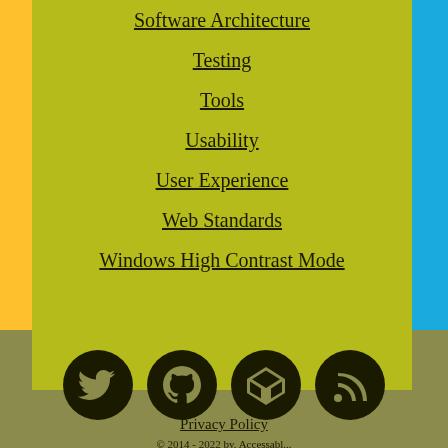Software Architecture
Testing
Tools
Usability
User Experience
Web Standards
Windows High Contrast Mode
[Figure (illustration): Four black circular social media icon buttons: Twitter bird, GitHub Octocat, CodePen logo, RSS feed icon]
Privacy Policy
© 2014 - 2022 by, Accessabl...